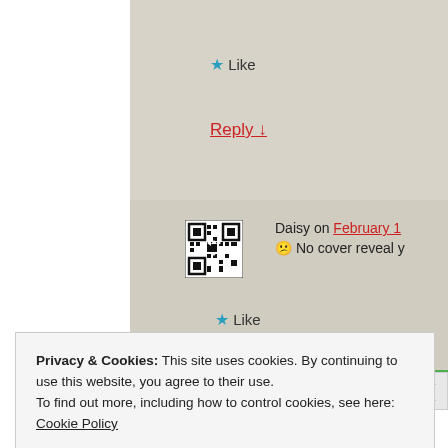★ Like
Reply ↓
[Figure (other): QR code style avatar/icon for user Daisy]
Daisy on February 1 😕 No cover reveal y
★ Like
Privacy & Cookies: This site uses cookies. By continuing to use this website, you agree to their use. To find out more, including how to control cookies, see here: Cookie Policy
Close and accept